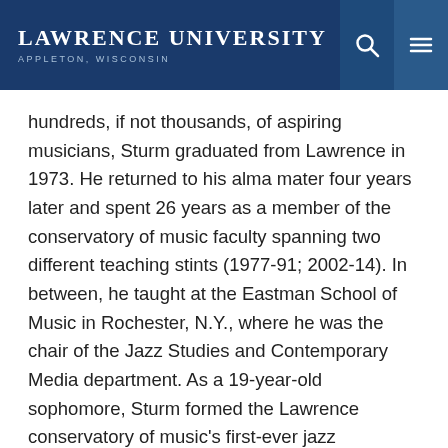LAWRENCE UNIVERSITY APPLETON, WISCONSIN
hundreds, if not thousands, of aspiring musicians, Sturm graduated from Lawrence in 1973. He returned to his alma mater four years later and spent 26 years as a member of the conservatory of music faculty spanning two different teaching stints (1977-91; 2002-14). In between, he taught at the Eastman School of Music in Rochester, N.Y., where he was the chair of the Jazz Studies and Contemporary Media department. As a 19-year-old sophomore, Sturm formed the Lawrence conservatory of music's first-ever jazz ensemble, which in turn became a catalyst for the creation of the jazz studies department. During his 37-year teaching career, the student jazz ensembles Sturm directed were recognized with nine Downbeat awards, widely considered the highest honor in the field of jazz education. Sturm himself was recognized by Downbeat